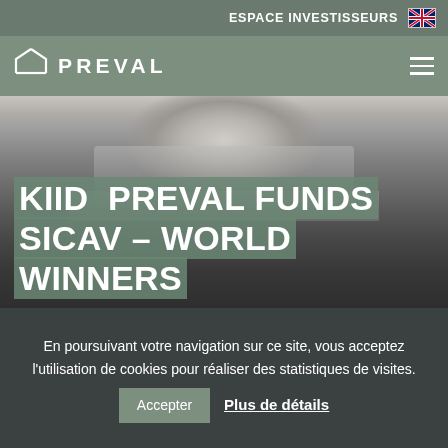ESPACE INVESTISSEURS
PREVAL
[Figure (photo): Black and white photograph of stone column bases or architectural steps, close-up view from above.]
KIID PREVAL FUNDS SICAV – WORLD WINNERS
En poursuivant votre navigation sur ce site, vous acceptez l'utilisation de cookies pour réaliser des statistiques de visites. Accepter Plus de détails